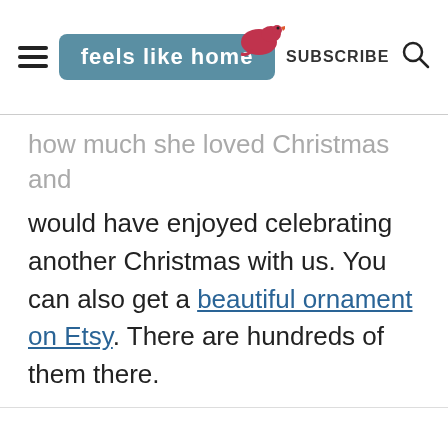feels like home | SUBSCRIBE
how much she loved Christmas and would have enjoyed celebrating another Christmas with us. You can also get a beautiful ornament on Etsy. There are hundreds of them there.